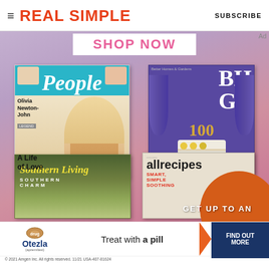REAL SIMPLE | SUBSCRIBE
[Figure (illustration): Magazine subscription promotional image showing 'SHOP NOW' banner with multiple magazine covers including People (Olivia Newton-John), Better Homes & Gardens (BH&G 100th issue), Southern Living (Southern Charm), and Allrecipes (Smart Simple). Orange arc shape in bottom right with 'GET UP TO AN' text overlay.]
[Figure (photo): Otezla advertisement banner: Otezla logo with pill/donut shape, text 'Treat with a pill', navy blue arrow/chevron button 'FIND OUT MORE'. Footer: © 2021 Amgen Inc. All rights reserved. 11/21 USA-407-81624]